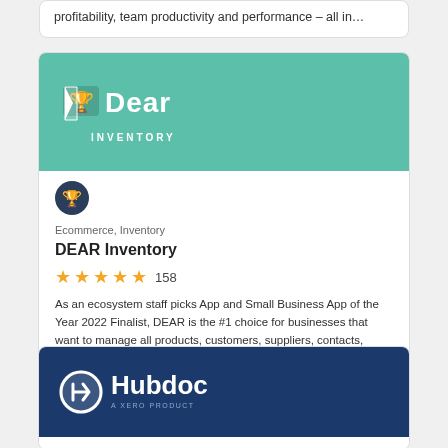profitability, team productivity and performance – all in…
[Figure (logo): DEAR Inventory logo on teal/green background with trophy badge icon]
Ecommerce, Inventory
DEAR Inventory
★★★★★ 158
As an ecosystem staff picks App and Small Business App of the Year 2022 Finalist, DEAR is the #1 choice for businesses that want to manage all products, customers, suppliers, contacts, purchases and sales in one easy-to-use system.
[Figure (logo): Hubdoc logo (a Xero product) on dark navy blue background]